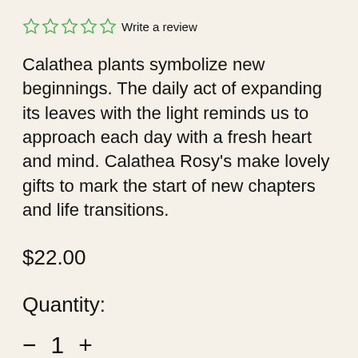☆☆☆☆☆ Write a review
Calathea plants symbolize new beginnings. The daily act of expanding its leaves with the light reminds us to approach each day with a fresh heart and mind. Calathea Rosy's make lovely gifts to mark the start of new chapters and life transitions.
$22.00
Quantity:
− 1 +